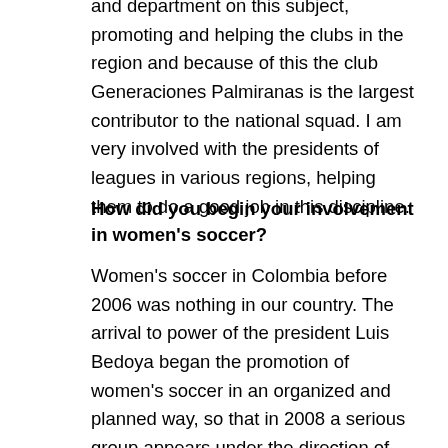and department on this subject, promoting and helping the clubs in the region and because of this the club Generaciones Palmiranas is the largest contributor to the national squad. I am very involved with the presidents of leagues in various regions, helping them to do a good job in this discipline.
How did you begin your involvement in women's soccer?
Women's soccer in Colombia before 2006 was nothing in our country. The arrival to power of the president Luis Bedoya began the promotion of women's soccer in an organized and planned way, so that in 2008 a serious group appears under the direction of the professor Pedro Rodriguez and begins to work very well, winning the U-17 Copa America in Chile. From there began a new cycle of women's soccer in the country, and they began to win at tournaments and World Cups and other events. In 2009